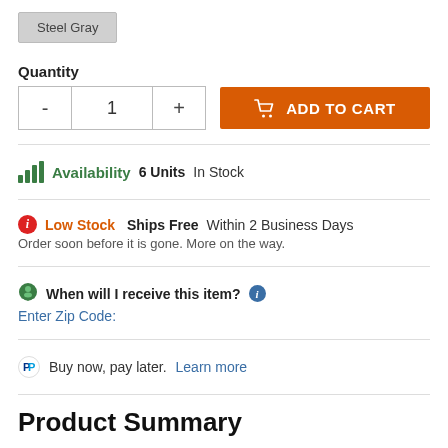Steel Gray
Quantity
- 1 + ADD TO CART
Availability  6 Units In Stock
Low Stock  Ships Free Within 2 Business Days
Order soon before it is gone. More on the way.
When will I receive this item?
Enter Zip Code:
Buy now, pay later. Learn more
Product Summary